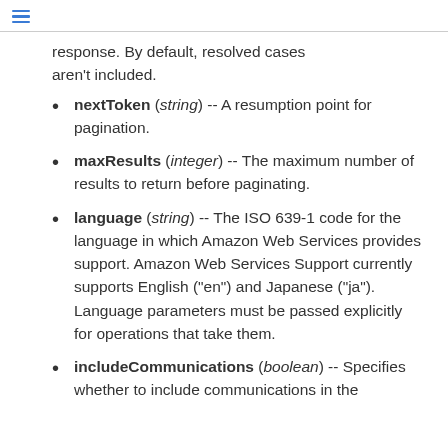≡
response. By default, resolved cases aren't included.
nextToken (string) -- A resumption point for pagination.
maxResults (integer) -- The maximum number of results to return before paginating.
language (string) -- The ISO 639-1 code for the language in which Amazon Web Services provides support. Amazon Web Services Support currently supports English ("en") and Japanese ("ja"). Language parameters must be passed explicitly for operations that take them.
includeCommunications (boolean) -- Specifies whether to include communications in the